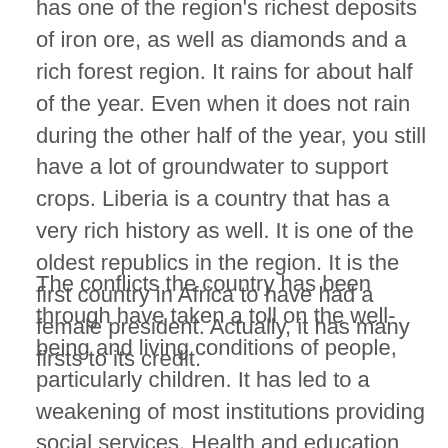has one of the region's richest deposits of iron ore, as well as diamonds and a rich forest region. It rains for about half of the year. Even when it does not rain during the other half of the year, you still have a lot of groundwater to support crops. Liberia is a country that has a very rich history as well. It is one of the oldest republics in the region. It is the first country in Africa to have had a female president. Actually, it has many firsts to its credit.
The conflicts the country has been through have taken a toll on the well-being and living conditions of people, particularly children. It has led to a weakening of most institutions providing social services. Health and education institutions are just not providing as much as they should to support the population.